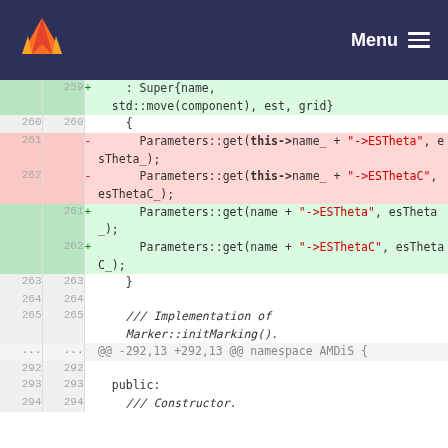Menu
Code diff view showing lines 259-294 of a C++ file with changes to Parameters::get calls replacing this->name_ with name
| old# | new# | op | code |
| --- | --- | --- | --- |
|  | 259 | + |     : Super{name, |
|  |  |  |   std::move(component), est, grid} |
| 260 | 260 |  |     { |
| 261 |  | − |      Parameters::get(this->name_ + "->ESTheta", esTheta_); |
| 262 |  | − |      Parameters::get(this->name_ + "->ESThetaC", esThetaC_); |
|  | 261 | + |      Parameters::get(name + "->ESTheta", esTheta_); |
|  | 262 | + |      Parameters::get(name + "->ESThetaC", esThetaC_); |
| 263 | 263 |  |     } |
| 264 | 264 |  |  |
| 265 | 265 |  |     /// Implementation of Marker::initMarking(). |
| ... | ... |  | @@ -292,13 +292,13 @@ namespace AMDiS { |
| 292 | 292 |  |  |
| 293 | 293 |  |   public: |
| 294 | 294 |  |   /// Constructor. |